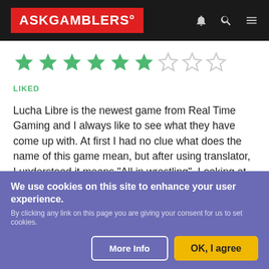[Figure (logo): AskGamblers logo in red box on dark header with navigation icons]
[Figure (other): Star rating: 6 out of 9 stars filled in green]
LIKED
Lucha Libre is the newest game from Real Time Gaming and I always like to see what they have come up with. At first I had no clue what does the name of this game mean, but after using translator, I understood it means "All in wrestling". Looking at the slot design you could understand it's about wrestling, but the
SHOW MORE
LIKE
We use cookies on this site to enhance your user experience. By clicking any link on this page you are giving your consent for us to set cookies.
More Info
OK, I agree